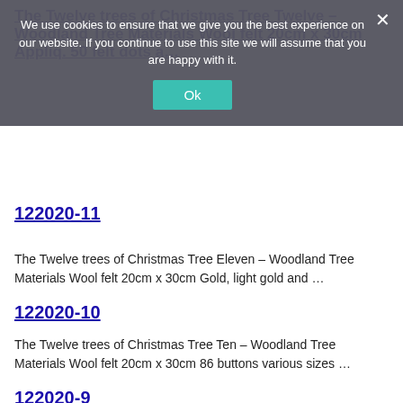We use cookies to ensure that we give you the best experience on our website. If you continue to use this site we will assume that you are happy with it.
The Twelve trees of Christmas Tree Twelve – Woodland Tree Materials Wool felt 20cm x 30cm Appliq. 50 felt dots a…
122020-11
The Twelve trees of Christmas Tree Eleven – Woodland Tree Materials Wool felt 20cm x 30cm Gold, light gold and …
122020-10
The Twelve trees of Christmas Tree Ten – Woodland Tree Materials Wool felt 20cm x 30cm 86 buttons various sizes …
122020-9
The Twelve trees of Christmas Tree Nine – Woodland Tree Materials Wool felt 20cm x 30cm Various vintage 4-6mm lace …
122020-bonus
The Twelve trees of Christmas Tree Bonus Tree – Bright n bold